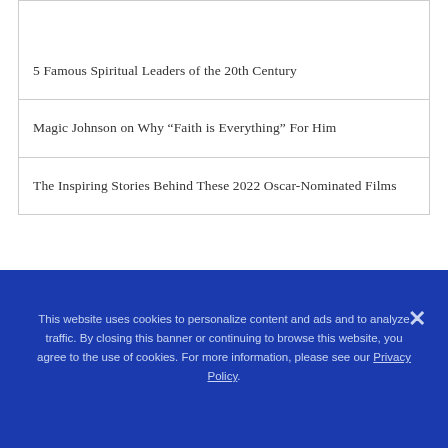5 Famous Spiritual Leaders of the 20th Century
Magic Johnson on Why “Faith is Everything” For Him
The Inspiring Stories Behind These 2022 Oscar-Nominated Films
This website uses cookies to personalize content and ads and to analyze traffic. By closing this banner or continuing to browse this website, you agree to the use of cookies. For more information, please see our Privacy Policy.